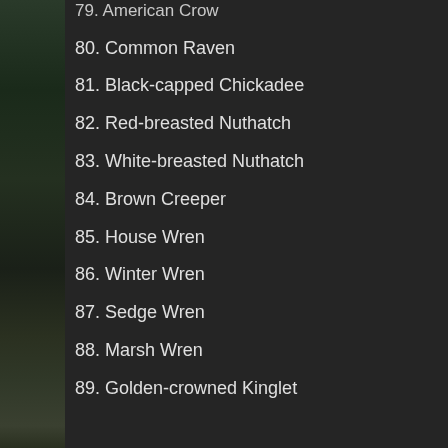79. American Crow
80. Common Raven
81. Black-capped Chickadee
82. Red-breasted Nuthatch
83. White-breasted Nuthatch
84. Brown Creeper
85. House Wren
86. Winter Wren
87. Sedge Wren
88. Marsh Wren
89. Golden-crowned Kinglet